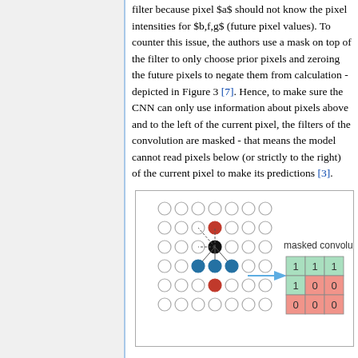filter because pixel $a$ should not know the pixel intensities for $b,f,g$ (future pixel values). To counter this issue, the authors use a mask on top of the filter to only choose prior pixels and zeroing the future pixels to negate them from calculation - depicted in Figure 3 [7]. Hence, to make sure the CNN can only use information about pixels above and to the left of the current pixel, the filters of the convolution are masked - that means the model cannot read pixels below (or strictly to the right) of the current pixel to make its predictions [3].
[Figure (illustration): Diagram showing masked convolution with a grid of circles (pixels) and a 3x3 filter mask. The mask has green cells with value 1 in the top row and top-left of middle row, and pink/red cells with value 0 elsewhere. Lines connect the center pixel to surrounding pixels. Red and blue filled circles indicate different pixel types. Arrow points to the mask grid labeled 'masked convolution'.]